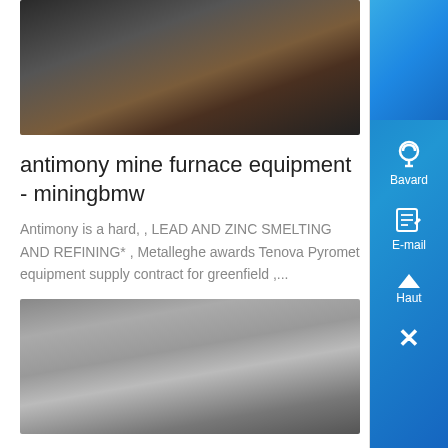[Figure (photo): Dark image of antimony mine furnace equipment pieces]
antimony mine furnace equipment - miningbmw
Antimony is a hard, , LEAD AND ZINC SMELTING AND REFINING* , Metalleghe awards Tenova Pyromet equipment supply contract for greenfield ,...
[Figure (photo): Industrial mining machinery, hard rock antimony mining equipment]
hard rock antimony mining - YouTube
Aug 09, 2016· Video embedded· Contact Us